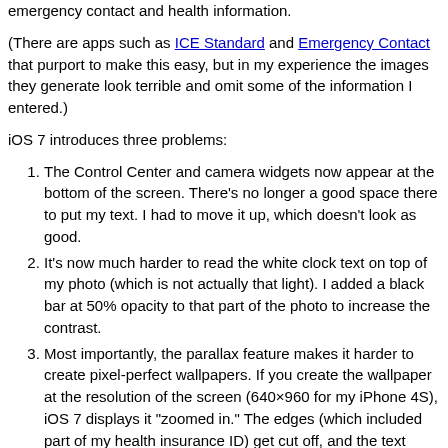emergency contact and health information.
(There are apps such as ICE Standard and Emergency Contact that purport to make this easy, but in my experience the images they generate look terrible and omit some of the information I entered.)
iOS 7 introduces three problems:
The Control Center and camera widgets now appear at the bottom of the screen. There’s no longer a good space there to put my text. I had to move it up, which doesn’t look as good.
It’s now much harder to read the white clock text on top of my photo (which is not actually that light). I added a black bar at 50% opacity to that part of the photo to increase the contrast.
Most importantly, the parallax feature makes it harder to create pixel-perfect wallpapers. If you create the wallpaper at the resolution of the screen (640×960 for my iPhone 4S), iOS 7 displays it “zoomed in.” The edges (which included part of my health insurance ID) get cut off, and the text doesn’t look sharp. Presumably this is